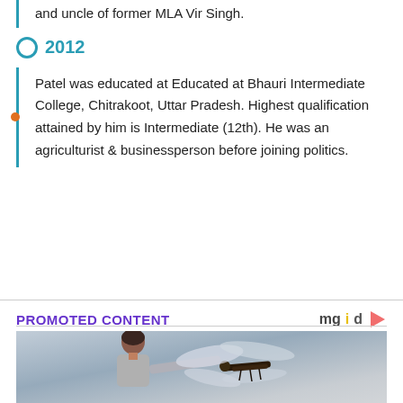and uncle of former MLA Vir Singh.
2012
Patel was educated at Educated at Bhauri Intermediate College, Chitrakoot, Uttar Pradesh. Highest qualification attained by him is Intermediate (12th). He was an agriculturist & businessperson before joining politics.
PROMOTED CONTENT
[Figure (photo): A woman with short dark hair and glasses holding a large dragonfly sculpture/model with detailed wings, against a light blue-grey background.]